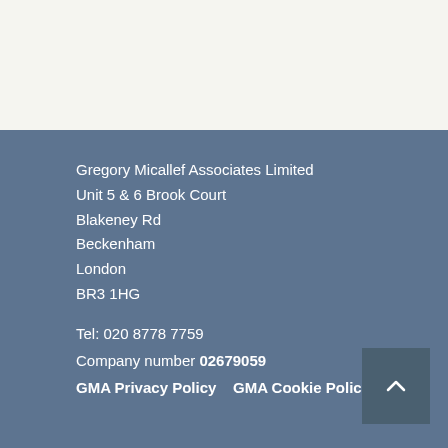Gregory Micallef Associates Limited
Unit 5 & 6 Brook Court
Blakeney Rd
Beckenham
London
BR3 1HG
Tel: 020 8778 7759
Company number 02679059
GMA Privacy Policy    GMA Cookie Policy